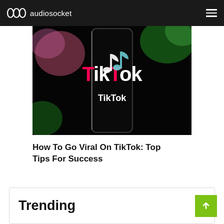audiosocket
[Figure (photo): A smartphone screen displaying the TikTok app logo and name on a dark background with blurred colorful bokeh in the background]
How To Go Viral On TikTok: Top Tips For Success
Trending